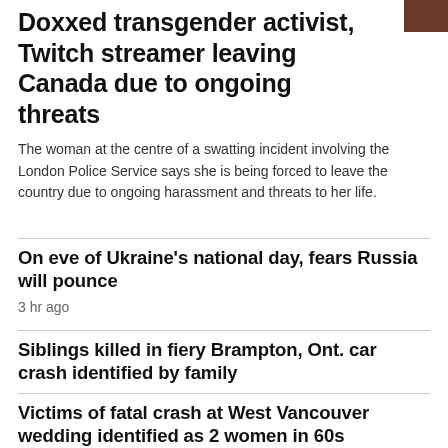[Figure (photo): Small brown/dark reddish thumbnail image in top right corner]
Doxxed transgender activist, Twitch streamer leaving Canada due to ongoing threats
The woman at the centre of a swatting incident involving the London Police Service says she is being forced to leave the country due to ongoing harassment and threats to her life.
On eve of Ukraine's national day, fears Russia will pounce
3 hr ago
Siblings killed in fiery Brampton, Ont. car crash identified by family
Victims of fatal crash at West Vancouver wedding identified as 2 women in 60s
11 hr ago